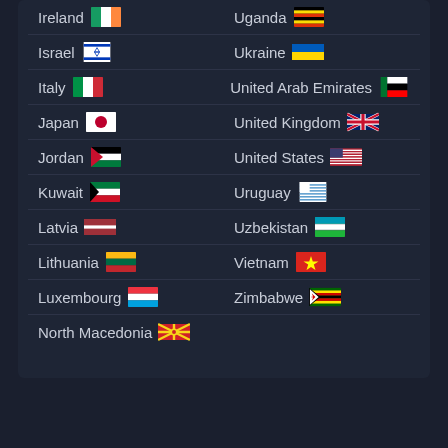Ireland 🇮🇪
Uganda
Israel 🇮🇱
Ukraine 🇺🇦
Italy 🇮🇹
United Arab Emirates 🇦🇪
Japan 🇯🇵
United Kingdom 🇬🇧
Jordan 🇯🇴
United States 🇺🇸
Kuwait 🇰🇼
Uruguay 🇺🇾
Latvia 🇱🇻
Uzbekistan 🇺🇿
Lithuania 🇱🇹
Vietnam 🇻🇳
Luxembourg 🇱🇺
Zimbabwe 🇿🇼
North Macedonia 🇲🇰